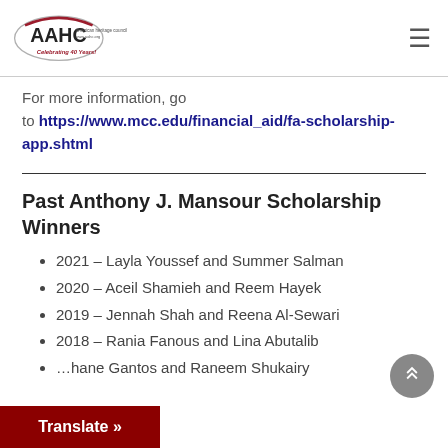AAHC – American Arab Heritage Council – Celebrating 40 Years!
For more information, go to https://www.mcc.edu/financial_aid/fa-scholarship-app.shtml
Past Anthony J. Mansour Scholarship Winners
2021 – Layla Youssef and Summer Salman
2020 – Aceil Shamieh and Reem Hayek
2019 – Jennah Shah and Reena Al-Sewari
2018 – Rania Fanous and Lina Abutalib
…hane Gantos and Raneem Shukairy